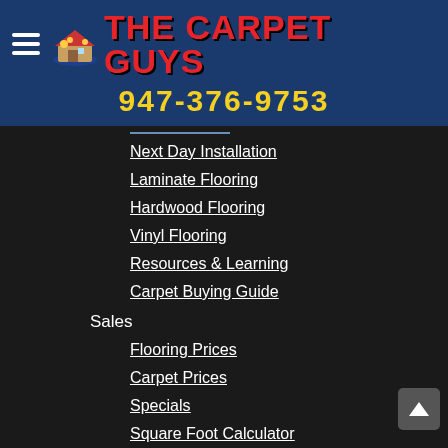[Figure (logo): The Carpet Guys logo with hamburger menu icon, cartoon house/family logo icon, and red bold text 'THE CARPET GUYS' on dark blue background with phone number 947-376-9753 in yellow]
Next Day Installation
Laminate Flooring
Hardwood Flooring
Vinyl Flooring
Resources & Learning
Carpet Buying Guide
Sales
Flooring Prices
Carpet Prices
Specials
Square Foot Calculator
Referral Program
About Us
Contact Us
Privacy Policy
Terms of Service
Career Opportunities